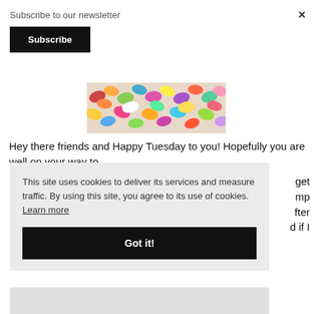Subscribe to our newsletter
Subscribe
[Figure (photo): Colorful jelly beans photographed from above, filling the frame with various colors including red, orange, yellow, green, blue, purple, and white.]
Hey there friends and Happy Tuesday to you! Hopefully you are well on your way to
This site uses cookies to deliver its services and measure traffic. By using this site, you agree to its use of cookies. Learn more
Got it!